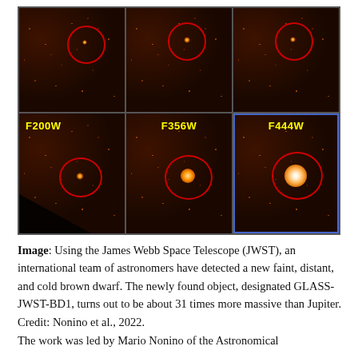[Figure (photo): Six-panel infrared image grid (2 rows × 3 columns) showing JWST observations of brown dwarf GLASS-JWST-BD1. Top row: three filter images without labels. Bottom row: F200W (left), F356W (center), F444W (right, blue-bordered). Each panel shows an orange/brown noise-textured infrared background with a red circle highlighting the brown dwarf candidate. Brightness of the circled object increases from F200W to F444W. Credit: Nonino et al., 2022.]
Image: Using the James Webb Space Telescope (JWST), an international team of astronomers have detected a new faint, distant, and cold brown dwarf. The newly found object, designated GLASS-JWST-BD1, turns out to be about 31 times more massive than Jupiter. Credit: Nonino et al., 2022.
The work was led by Mario Nonino of the Astronomical